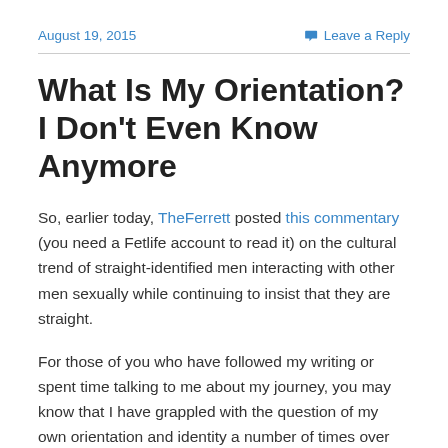August 19, 2015   Leave a Reply
What Is My Orientation? I Don't Even Know Anymore
So, earlier today, TheFerrett posted this commentary (you need a Fetlife account to read it) on the cultural trend of straight-identified men interacting with other men sexually while continuing to insist that they are straight.
For those of you who have followed my writing or spent time talking to me about my journey, you may know that I have grappled with the question of my own orientation and identity a number of times over the last several years.